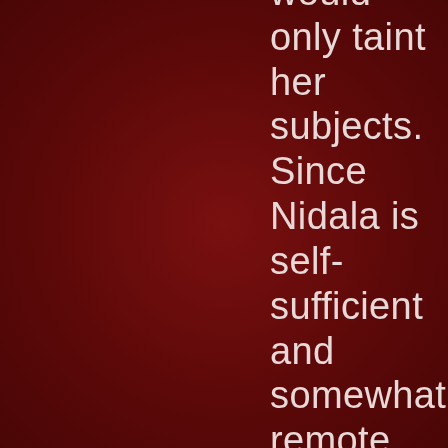would only taint her subjects. Since Nidala is self-sufficient and somewhat remote, this has not been